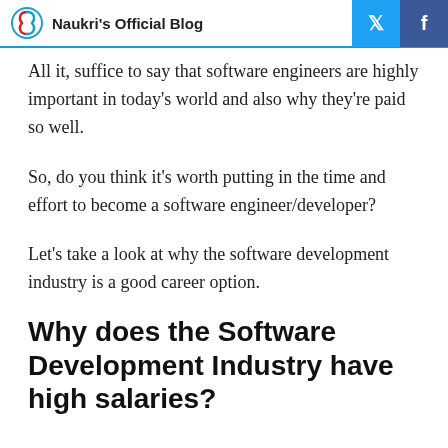Naukri's Official Blog
All it, suffice to say that software engineers are highly important in today's world and also why they're paid so well.
So, do you think it's worth putting in the time and effort to become a software engineer/developer?
Let's take a look at why the software development industry is a good career option.
Why does the Software Development Industry have high salaries?